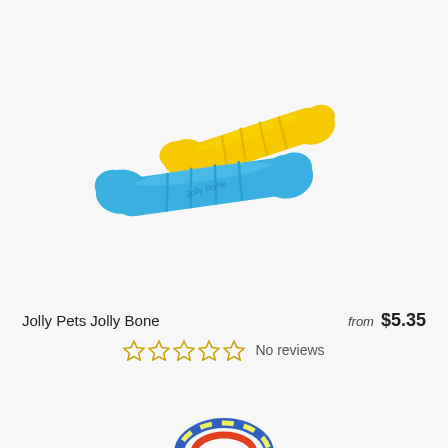[Figure (photo): Two rubber dog bones - one blue and one yellow (Jolly Pets Jolly Bone) arranged diagonally on a light gray background]
Jolly Pets Jolly Bone
from $5.35
☆☆☆☆☆ No reviews
[Figure (photo): Partial view of another dog toy product at the bottom of the page]